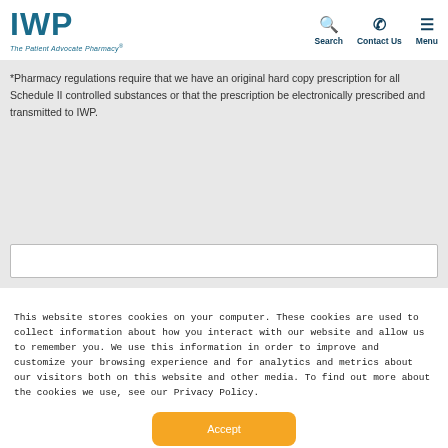IWP — The Patient Advocate Pharmacy — Search | Contact Us | Menu
*Pharmacy regulations require that we have an original hard copy prescription for all Schedule II controlled substances or that the prescription be electronically prescribed and transmitted to IWP.
This website stores cookies on your computer. These cookies are used to collect information about how you interact with our website and allow us to remember you. We use this information in order to improve and customize your browsing experience and for analytics and metrics about our visitors both on this website and other media. To find out more about the cookies we use, see our Privacy Policy.